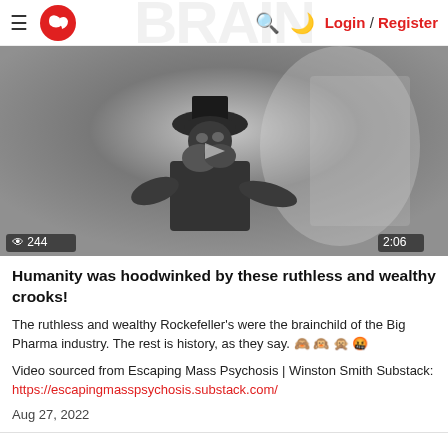Login / Register
[Figure (photo): Black and white vintage video thumbnail showing a person wearing a top hat, with an eye icon showing 244 views and duration 2:06]
Humanity was hoodwinked by these ruthless and wealthy crooks!
The ruthless and wealthy Rockefeller's were the brainchild of the Big Pharma industry. The rest is history, as they say. 🙈 🙉 🙊 🤬
Video sourced from Escaping Mass Psychosis | Winston Smith Substack: https://escapingmasspsychosis.substack.com/
Aug 27, 2022